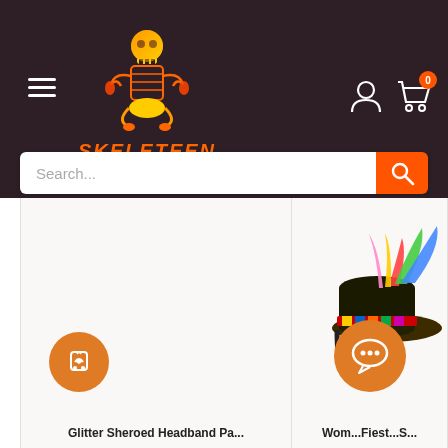[Figure (screenshot): Skeleteen e-commerce website header with logo (skeleton in yoga pose), hamburger menu, user/cart icons, and search bar. Below are two product cards — left card empty with wishlist icon, right card showing a fiesta sombrero headband costume accessory with chat icon.]
Search...
Glitter Sheroed Headband Pa...
Wom...Fiest...S...